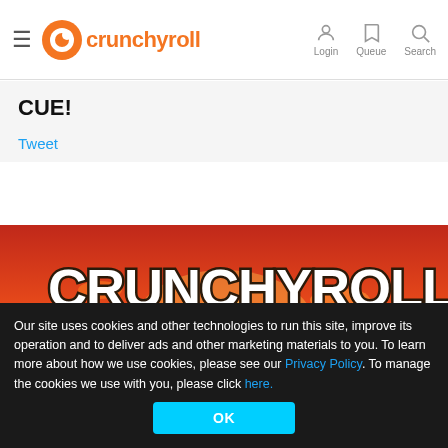crunchyroll — Login Queue Search
CUE!
Tweet
[Figure (illustration): Crunchyroll Summer 2022 Lineup banner image: stylized illustration of pine trees silhouetted against a red/orange sunset sky with the text 'CRUNCHYROLL SUMMER 2022 LIN' visible (cropped).]
Our site uses cookies and other technologies to run this site, improve its operation and to deliver ads and other marketing materials to you. To learn more about how we use cookies, please see our Privacy Policy. To manage the cookies we use with you, please click here.
OK